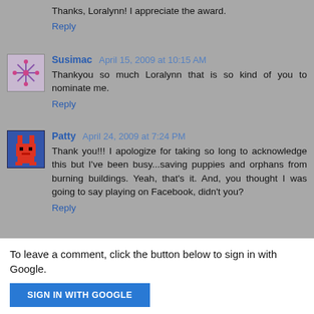Thanks, Loralynn! I appreciate the award.
Reply
Susimac  April 15, 2009 at 10:15 AM
Thankyou so much Loralynn that is so kind of you to nominate me.
Reply
Patty  April 24, 2009 at 7:24 PM
Thank you!!! I apologize for taking so long to acknowledge this but I've been busy...saving puppies and orphans from burning buildings. Yeah, that's it. And, you thought I was going to say playing on Facebook, didn't you?
Reply
To leave a comment, click the button below to sign in with Google.
SIGN IN WITH GOOGLE